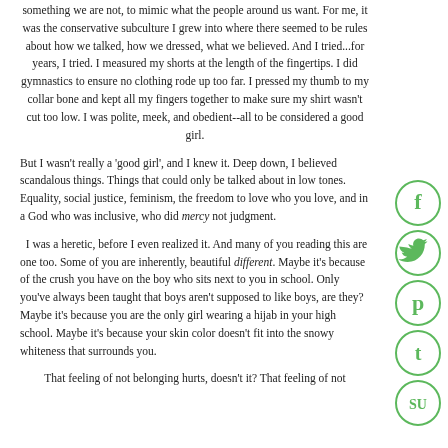something we are not, to mimic what the people around us want. For me, it was the conservative subculture I grew into where there seemed to be rules about how we talked, how we dressed, what we believed. And I tried...for years, I tried. I measured my shorts at the length of the fingertips. I did gymnastics to ensure no clothing rode up too far. I pressed my thumb to my collar bone and kept all my fingers together to make sure my shirt wasn't cut too low. I was polite, meek, and obedient--all to be considered a good girl.
But I wasn't really a 'good girl', and I knew it. Deep down, I believed scandalous things. Things that could only be talked about in low tones. Equality, social justice, feminism, the freedom to love who you love, and in a God who was inclusive, who did mercy not judgment.
I was a heretic, before I even realized it. And many of you reading this are one too. Some of you are inherently, beautiful different. Maybe it's because of the crush you have on the boy who sits next to you in school. Only you've always been taught that boys aren't supposed to like boys, are they? Maybe it's because you are the only girl wearing a hijab in your high school. Maybe it's because your skin color doesn't fit into the snowy whiteness that surrounds you.
That feeling of not belonging hurts, doesn't it? That feeling of not